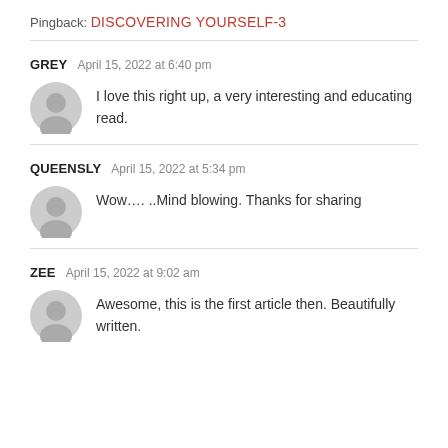Pingback: DISCOVERING YOURSELF-3
GREY  April 15, 2022 at 6:40 pm
I love this right up, a very interesting and educating read.
QUEENSLY  April 15, 2022 at 5:34 pm
Wow…. ..Mind blowing. Thanks for sharing
ZEE  April 15, 2022 at 9:02 am
Awesome, this is the first article then. Beautifully written.